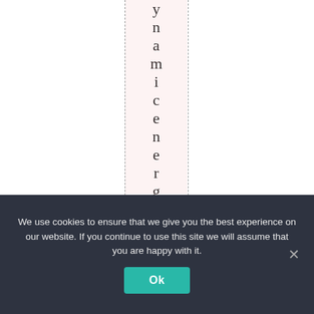ynamicenergyandsta
We use cookies to ensure that we give you the best experience on our website. If you continue to use this site we will assume that you are happy with it.